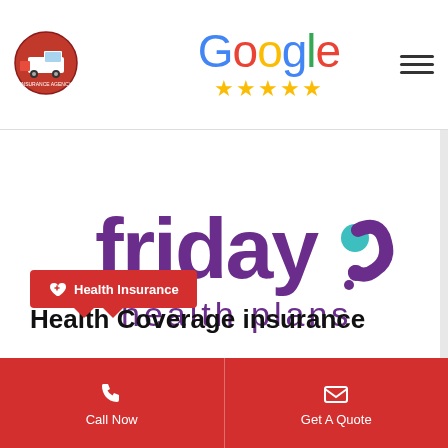[Figure (logo): Truck/insurance agency logo in red circular badge, top left]
[Figure (logo): Google logo with five yellow stars rating, top center]
[Figure (logo): Friday Health Plans logo in purple text with teal/purple icon, center section]
Health Insurance
Health Coverage insurance
Call Now
Get A Quote